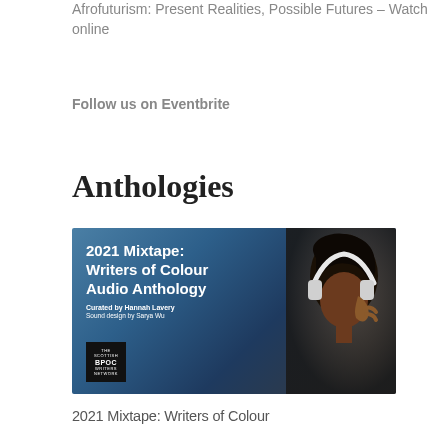Afrofuturism: Present Realities, Possible Futures – Watch online
Follow us on Eventbrite
Anthologies
[Figure (photo): Promotional image for '2021 Mixtape: Writers of Colour Audio Anthology', curated by Hannah Lavery, sound design by Sarya Wu. Features white text on a teal/dark background with a person wearing headphones. Includes the Scottish BPOC Writers Network logo.]
2021 Mixtape: Writers of Colour